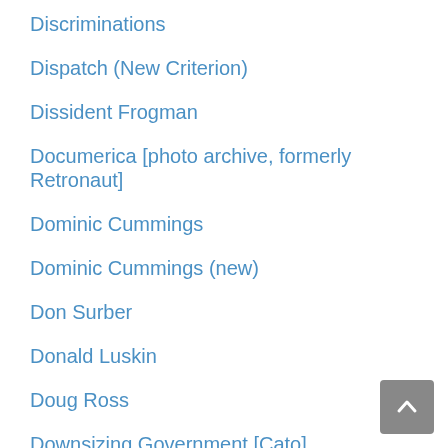Discriminations
Dispatch (New Criterion)
Dissident Frogman
Documerica [photo archive, formerly Retronaut]
Dominic Cummings
Dominic Cummings (new)
Don Surber
Donald Luskin
Doug Ross
Downsizing Government [Cato]
Duck of Minerva
Easy Opinions (archive)
EconLog
Ed Driscoll